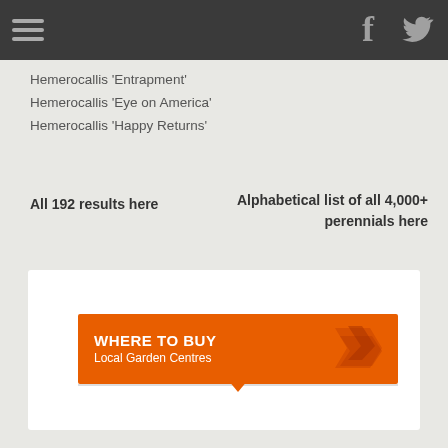Navigation bar with hamburger menu, Facebook and Twitter icons
Hemerocallis 'Entrapment'
Hemerocallis 'Eye on America'
Hemerocallis 'Happy Returns'
All 192 results here
Alphabetical list of all 4,000+ perennials here
[Figure (infographic): WHERE TO BUY Local Garden Centres orange banner with chevron logo]